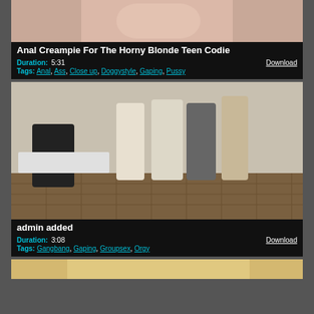[Figure (photo): Close-up thumbnail of skin/body part, partially visible at top]
Anal Creampie For The Horny Blonde Teen Codie
Duration: 5:31   Download
Tags: Anal, Ass, Close up, Doggystyle, Gaping, Pussy
[Figure (photo): Group scene with multiple people, some clothed in shirts and vests, some unclothed, in a room with parquet flooring]
admin added
Duration: 3:08   Download
Tags: Gangbang, Gaping, Groupsex, Orgy
[Figure (photo): Partial thumbnail visible at bottom, showing blonde hair]